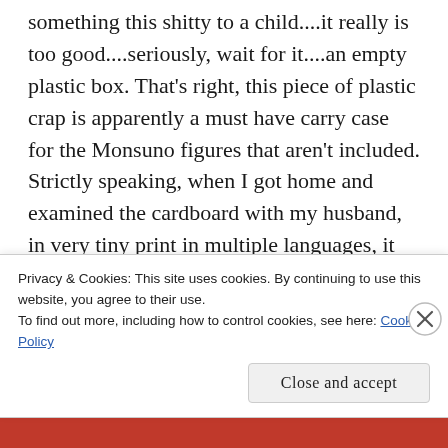something this shitty to a child....it really is too good....seriously, wait for it....an empty plastic box. That's right, this piece of plastic crap is apparently a must have carry case for the Monsuno figures that aren't included. Strictly speaking, when I got home and examined the cardboard with my husband, in very tiny print in multiple languages, it does state 'not included'. To me, this is on the scale of requiring people to examine the bottle of coke they buy from the supermarket, in case it is in fact a coke carrier (coke not included ) for the coke you can buy in the next aisle. Or, wine perhaps? Or even chocolates? I mean, after all, when the chocolate
Privacy & Cookies: This site uses cookies. By continuing to use this website, you agree to their use.
To find out more, including how to control cookies, see here: Cookie Policy
Close and accept